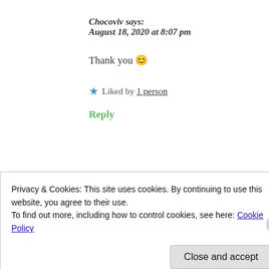Chocoviv says:
August 18, 2020 at 8:07 pm
Thank you 😊
★ Liked by 1 person
Reply
Dr Namrata, Ph.D. says:
Privacy & Cookies: This site uses cookies. By continuing to use this website, you agree to their use.
To find out more, including how to control cookies, see here: Cookie Policy
Close and accept